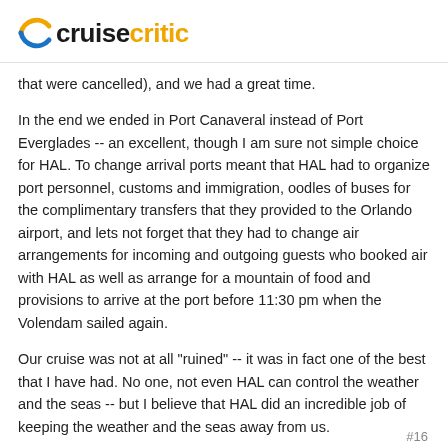cruisecritic
that were cancelled), and we had a great time.
In the end we ended in Port Canaveral instead of Port Everglades -- an excellent, though I am sure not simple choice for HAL. To change arrival ports meant that HAL had to organize port personnel, customs and immigration, oodles of buses for the complimentary transfers that they provided to the Orlando airport, and lets not forget that they had to change air arrangements for incoming and outgoing guests who booked air with HAL as well as arrange for a mountain of food and provisions to arrive at the port before 11:30 pm when the Volendam sailed again.
Our cruise was not at all "ruined" -- it was in fact one of the best that I have had. No one, not even HAL can control the weather and the seas -- but I believe that HAL did an incredible job of keeping the weather and the seas away from us.
rumple